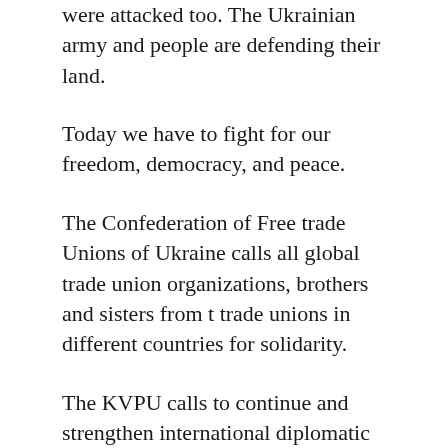were attacked too. The Ukrainian army and people are defending their land.
Today we have to fight for our freedom, democracy, and peace.
The Confederation of Free trade Unions of Ukraine calls all global trade union organizations, brothers and sisters from t trade unions in different countries for solidarity.
The KVPU calls to continue and strengthen international diplomatic and economic pressure on the Russian Federation and provide all possible measures to stop war and force withdraw her forces from the territory of Ukraine. As effective and prompt protection